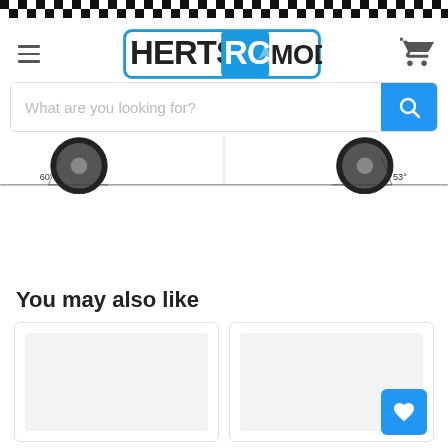Herts RC Models – website header with checkered banner, logo, hamburger menu, cart icon
[Figure (screenshot): Search bar with placeholder 'What are you looking for?' and blue search button]
[Figure (engineering-diagram): RC vehicle wheel diagram showing two large knobby tires with angle measurements of 60° and 53° indicated]
You may also like
[Figure (photo): Product card image area (left) – grey placeholder]
[Figure (photo): Product card image area (right, partially visible) – grey placeholder with blue wishlist heart button]